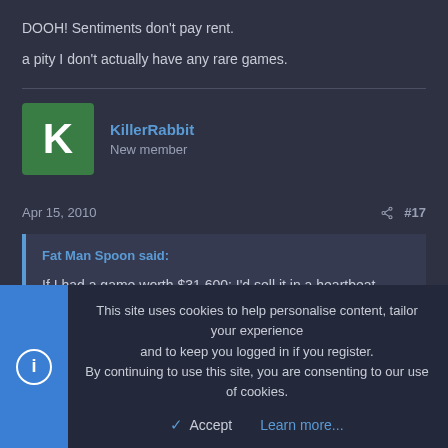DOOH! Sentiments don't pay rent.
a pity I don't actually have any rare games.
KillerRabbit
New member
Apr 15, 2010
#17
Fat Man Spoon said:
If I had a game worth $31,600; I'd sell it in a heartbeat.
This site uses cookies to help personalise content, tailor your experience and to keep you logged in if you register.
By continuing to use this site, you are consenting to our use of cookies.
Accept   Learn more...